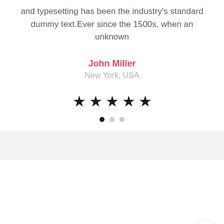and typesetting has been the industry's standard dummy text.Ever since the 1500s, when an unknown
John Miller
New York, USA
[Figure (other): Five black star rating icons in a row]
[Figure (other): Three pagination dots, first dot filled black, second and third light gray]
[Figure (other): Back to top arrow button, circular white button with upward chevron arrow]